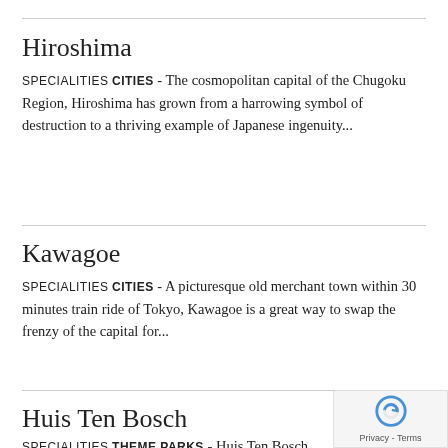Hiroshima
SPECIALITIES CITIES - The cosmopolitan capital of the Chugoku Region, Hiroshima has grown from a harrowing symbol of destruction to a thriving example of Japanese ingenuity...
Kawagoe
SPECIALITIES CITIES - A picturesque old merchant town within 30 minutes train ride of Tokyo, Kawagoe is a great way to swap the frenzy of the capital for...
Huis Ten Bosch
SPECIALITIES THEME PARKS - Huis Ten Bosch is a Dutch themed amusement park along Omura Bay in Sasebo. Founded in 1992, it's complete with Dutch-style homes, windmills, wood...